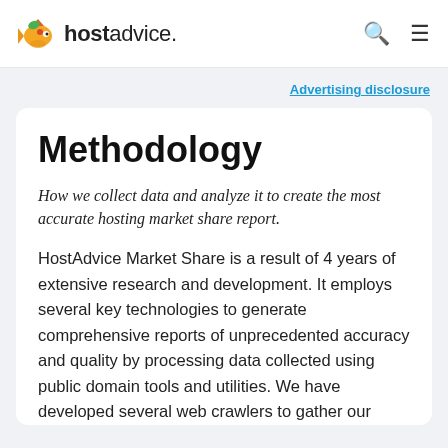hostadvice.
Advertising disclosure
Methodology
How we collect data and analyze it to create the most accurate hosting market share report.
HostAdvice Market Share is a result of 4 years of extensive research and development. It employs several key technologies to generate comprehensive reports of unprecedented accuracy and quality by processing data collected using public domain tools and utilities. We have developed several web crawlers to gather our